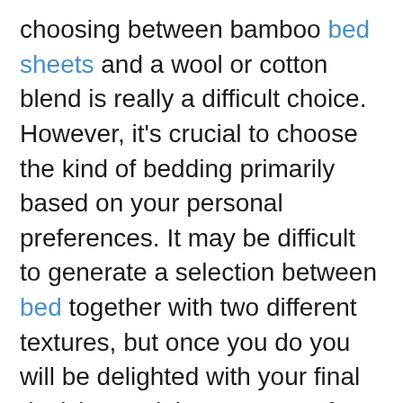choosing between bamboo bed sheets and a wool or cotton blend is really a difficult choice. However, it's crucial to choose the kind of bedding primarily based on your personal preferences. It may be difficult to generate a selection between bed together with two different textures, but once you do you will be delighted with your final decision and the outcomes for the home. These are a Few of the reasons why bamboo mattress sheets are somewhat greater than other cloths for your own bedding requirements:
These sorts of sheets may also provide a touch of architectural design into a bedroom, adding a rustic look to a place. You may find that choosing between bamboo bed sheets and a wool or cotton blend is a tricky